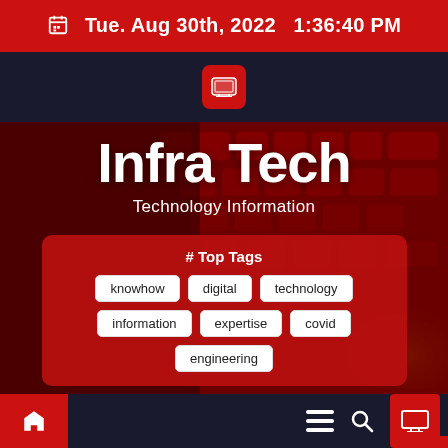Tue. Aug 30th, 2022  1:36:40 PM
[Figure (logo): YouTube icon button in red square]
Infra Tech
Technology Information
# Top Tags
knowhow
digital
technology
information
expertise
covid
engineering
Navigation bar with home, menu, search, and screen icons